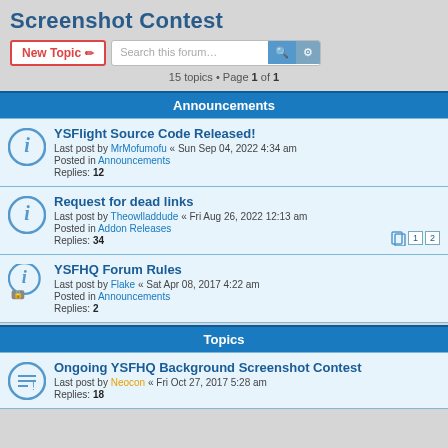Screenshot Contest
15 topics • Page 1 of 1
Announcements
YSFlight Source Code Released! Last post by MrMofumofu « Sun Sep 04, 2022 4:34 am Posted in Announcements Replies: 12
Request for dead links Last post by Theowlladdude « Fri Aug 26, 2022 12:13 am Posted in Addon Releases Replies: 34
YSFHQ Forum Rules Last post by Flake « Sat Apr 08, 2017 4:22 am Posted in Announcements Replies: 2
Topics
Ongoing YSFHQ Background Screenshot Contest Last post by Neocon « Fri Oct 27, 2017 5:28 am Replies: 18